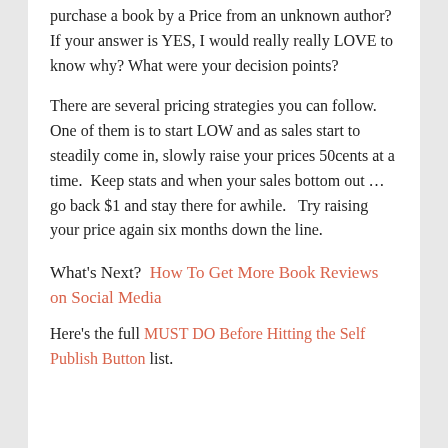purchase a book by a Price from an unknown author? If your answer is YES, I would really really LOVE to know why? What were your decision points?
There are several pricing strategies you can follow.  One of them is to start LOW and as sales start to steadily come in, slowly raise your prices 50cents at a time.  Keep stats and when your sales bottom out … go back $1 and stay there for awhile.   Try raising your price again six months down the line.
What's Next?  How To Get More Book Reviews on Social Media
Here's the full MUST DO Before Hitting the Self Publish Button list.